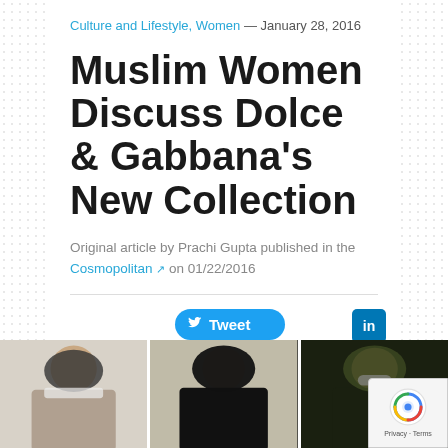Culture and Lifestyle, Women — January 28, 2016
Muslim Women Discuss Dolce & Gabbana's New Collection
Original article by Prachi Gupta published in the Cosmopolitan ↗ on 01/22/2016
[Figure (infographic): Social sharing buttons: Tweet (Twitter), LinkedIn, Pinterest, Email, Gmail, Print/Save]
[Figure (photo): Three photos of women wearing hijabs from Dolce & Gabbana's collection, shown side by side at the bottom of the page]